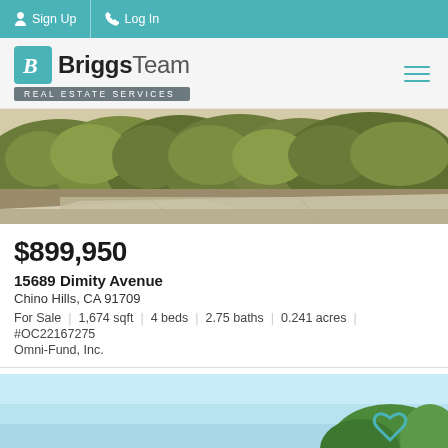Sign Up  Log In
[Figure (logo): BriggsTeam Real Estate Services logo with teal icon and hamburger menu]
[Figure (photo): Exterior photo of property showing green hedges and sidewalk]
$899,950
15689 Dimity Avenue
Chino Hills, CA 91709
For Sale  |  1,674 sqft  |  4 beds  |  2.75 baths  |  0.241 acres  |
#OC22167275
Omni-Fund, Inc.
[Figure (photo): Bottom preview card with light blue sky background]